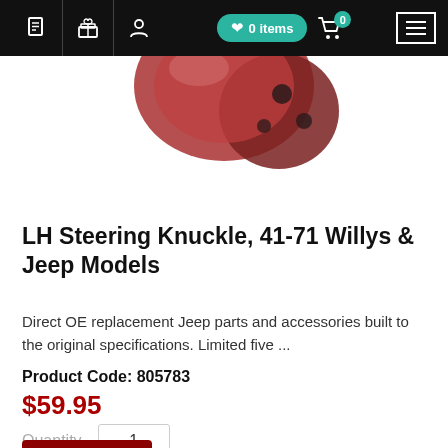Navigation bar with icons: document, gift, user, 0 items wishlist, cart 0, menu
[Figure (photo): Partial view of a red/maroon LH Steering Knuckle automotive part against a white background]
LH Steering Knuckle, 41-71 Willys & Jeep Models
Direct OE replacement Jeep parts and accessories built to the original specifications. Limited five ...
Product Code: 805783
$59.95
Quantity 1